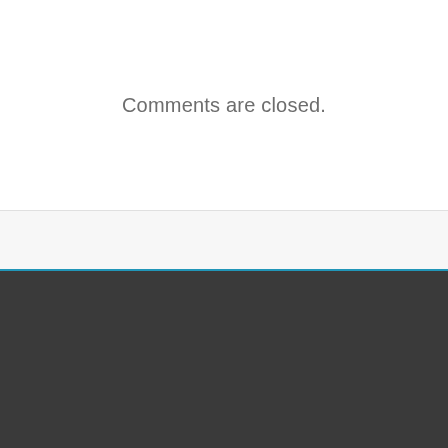Comments are closed.
Created by Cohhe. Proudly powered by WordPress
About   Archives